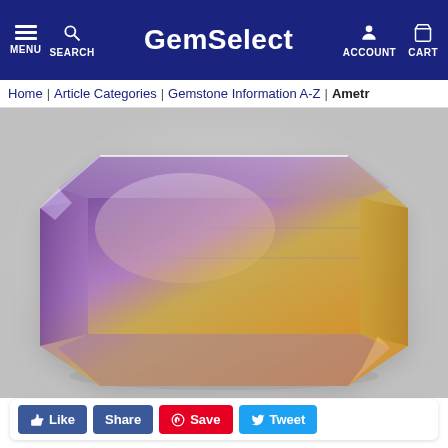GemSelect — MENU SEARCH ACCOUNT CART
Home | Article Categories | Gemstone Information A-Z | Ametr
[Figure (photo): A large faceted ametrine gemstone in emerald cut, showing a bicolor purple and golden-yellow coloration, photographed on a white background.]
Like  Share  Save  Tweet